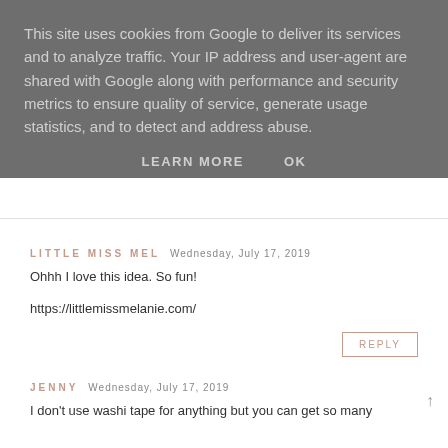This site uses cookies from Google to deliver its services and to analyze traffic. Your IP address and user-agent are shared with Google along with performance and security metrics to ensure quality of service, generate usage statistics, and to detect and address abuse.
LEARN MORE   OK
LITTLE MISS MEL  Wednesday, July 17, 2019
Ohhh I love this idea. So fun!
https://littlemissmelanie.com/
REPLY
JENNY  Wednesday, July 17, 2019
I don't use washi tape for anything but you can get so many